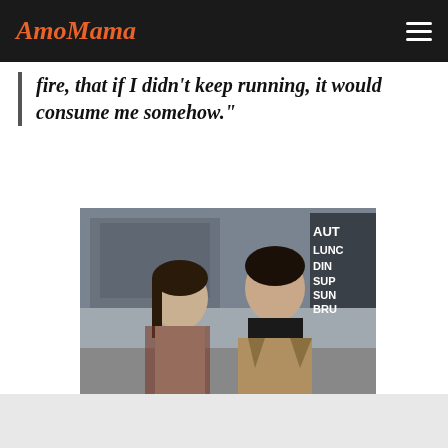AmoMama
fire, that if I didn't keep running, it would consume me somehow."
[Figure (photo): A vintage 1970s-style photograph of a young woman and man walking together on a city street. The woman wears a turtleneck sweater and plaid coat; the man wears a black turtleneck and a tan houndstooth blazer. A restaurant sign partially visible in the background reads: AUTO, LUNC, DIN, SUP, SUN, BRU.]